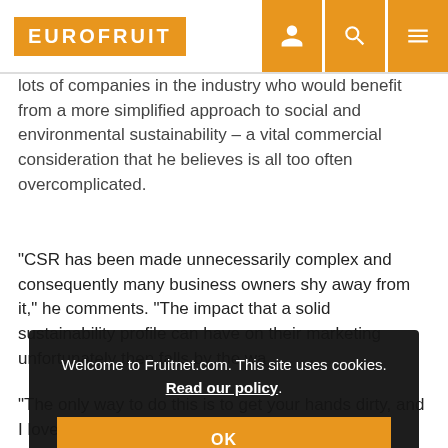EUROFRUIT
lots of companies in the industry who would benefit from a more simplified approach to social and environmental sustainability – a vital commercial consideration that he believes is all too often overcomplicated.
"CSR has been made unnecessarily complex and consequently many business owners shy away from it," he comments. "The impact that a solid sustainability profile can have on their marketing unfortunately then falls by the wa...
Fo... er... no...
[Figure (screenshot): Cookie consent overlay: 'Welcome to Fruitnet.com. This site uses cookies. Read our policy.' with an orange OK button.]
"The only way to do this is to get your hands dirty, and I love